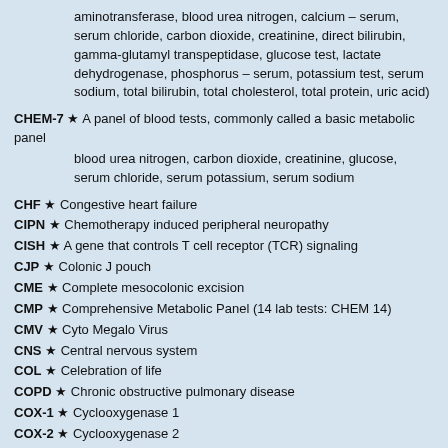aminotransferase, blood urea nitrogen, calcium – serum, serum chloride, carbon dioxide, creatinine, direct bilirubin, gamma-glutamyl transpeptidase, glucose test, lactate dehydrogenase, phosphorus – serum, potassium test, serum sodium, total bilirubin, total cholesterol, total protein, uric acid)
CHEM-7 ★ A panel of blood tests, commonly called a basic metabolic panel
blood urea nitrogen, carbon dioxide, creatinine, glucose, serum chloride, serum potassium, serum sodium
CHF ★ Congestive heart failure
CIPN ★ Chemotherapy induced peripheral neuropathy
CISH ★ A gene that controls T cell receptor (TCR) signaling
CJP ★ Colonic J pouch
CME ★ Complete mesocolonic excision
CMP ★ Comprehensive Metabolic Panel (14 lab tests: CHEM 14)
CMV ★ Cyto Megalo Virus
CNS ★ Central nervous system
COL ★ Celebration of life
COPD ★ Chronic obstructive pulmonary disease
COX-1 ★ Cyclooxygenase 1
COX-2 ★ Cyclooxygenase 2
COX1 COX2 INHIBITORS ★ Inhibitors of Cyclooxygenase 1 and Cyclooxygenase 2
CPE ★ Complete pelvic exenteration, aka pelvic evisceration